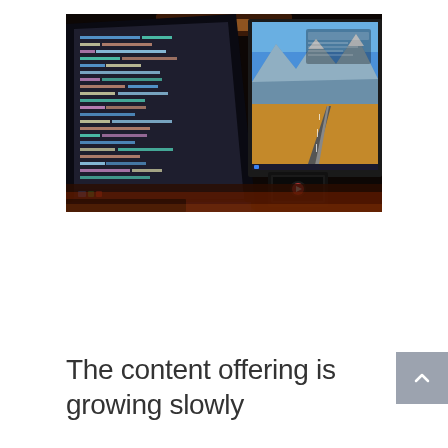[Figure (photo): Dark photography of a computer workstation with two monitors. The left monitor shows a code editor with colorful syntax-highlighted code on a dark background. The right monitor displays a mountain road landscape wallpaper. A laptop is visible between the two monitors. The desk is dimly lit with warm orange/red ambient lighting.]
The content offering is growing slowly